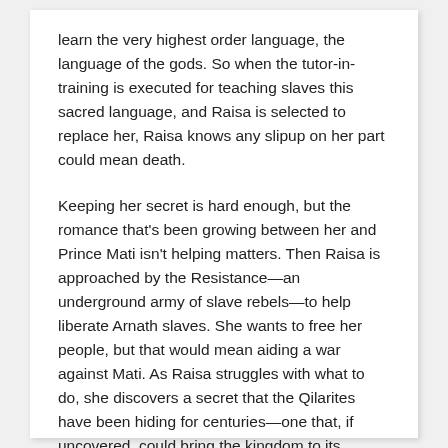learn the very highest order language, the language of the gods. So when the tutor-in-training is executed for teaching slaves this sacred language, and Raisa is selected to replace her, Raisa knows any slipup on her part could mean death.
Keeping her secret is hard enough, but the romance that's been growing between her and Prince Mati isn't helping matters. Then Raisa is approached by the Resistance—an underground army of slave rebels—to help liberate Arnath slaves. She wants to free her people, but that would mean aiding a war against Mati. As Raisa struggles with what to do, she discovers a secret that the Qilarites have been hiding for centuries—one that, if uncovered, could bring the kingdom to its knees.